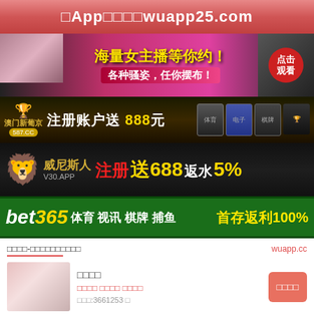□App□□□□wuapp25.com
[Figure (photo): Adult content banner: 海量女主播等你约！各种骚姿，任你摆布！with photo of woman, click-to-watch button]
[Figure (photo): Macau New Lisboa casino ad: 澳门新葡京 587.CC 注册账户送888元 with game icons]
[Figure (photo): Venice V30.APP casino ad: 威尼斯人 注册送688 返水5%]
[Figure (photo): bet365 广告：体育 视讯 棋牌 捕鱼 首存返利100%]
□□□□-□□□□□□□□□□
wuapp.cc
□□□□ | □□□□ □□□□ □□□□ | □□□:3661253 □ | □□□□
□□□□